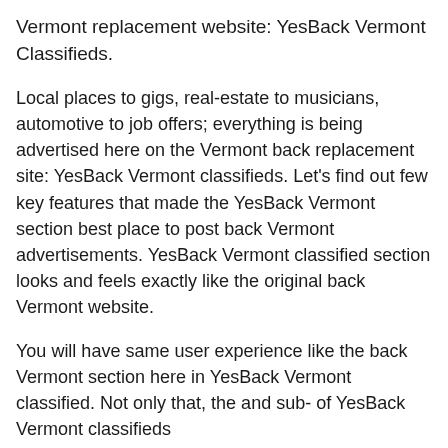Vermont replacement website: YesBack Vermont Classifieds.
Local places to gigs, real-estate to musicians, automotive to job offers; everything is being advertised here on the Vermont back replacement site: YesBack Vermont classifieds. Let's find out few key features that made the YesBack Vermont section best place to post back Vermont advertisements. YesBack Vermont classified section looks and feels exactly like the original back Vermont website.
You will have same user experience like the back Vermont section here in YesBack Vermont classified. Not only that, the and sub- of YesBack Vermont classifieds